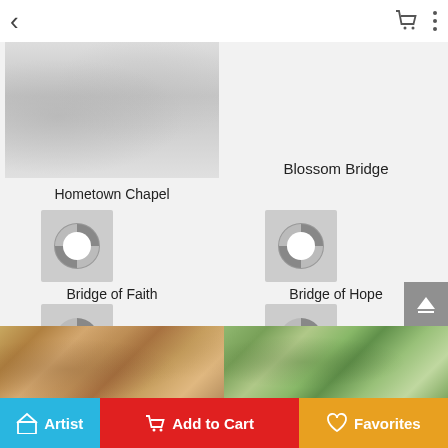[Figure (screenshot): Mobile app screen showing an art gallery browsing interface with painting thumbnails]
Hometown Chapel
Blossom Bridge
[Figure (illustration): Loading spinner thumbnail for Bridge of Faith]
Bridge of Faith
[Figure (illustration): Loading spinner thumbnail for Bridge of Hope]
Bridge of Hope
[Figure (illustration): Loading spinner thumbnail for Cobblestone Bridge]
Cobblestone Bridge
[Figure (illustration): Loading spinner thumbnail for Golden Gate Bridge, San Fr...]
Golden Gate Bridge, San Fr...
[Figure (photo): Colorful painting thumbnail at bottom left]
[Figure (photo): Colorful painting thumbnail at bottom right]